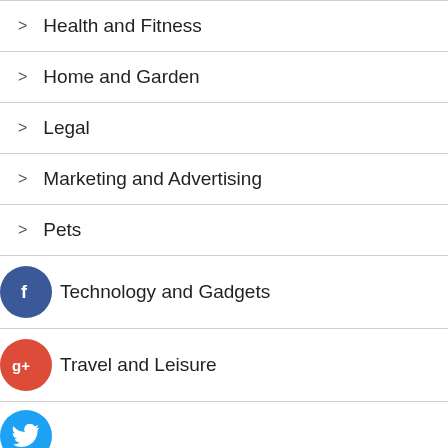> Health and Fitness
> Home and Garden
> Legal
> Marketing and Advertising
> Pets
> Technology and Gadgets
> Travel and Leisure
[Figure (illustration): Twitter social media icon (blue circle)]
[Figure (illustration): Plus / add icon (dark circle)]
Recent Posts